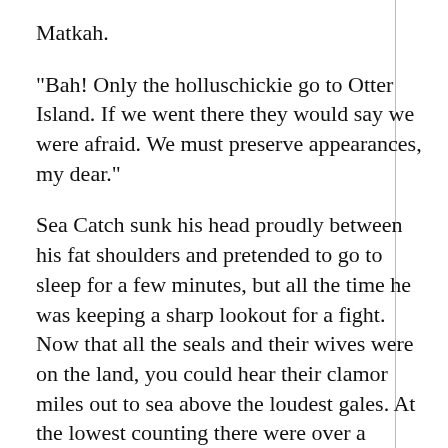Matkah.
“Bah! Only the holluschickie go to Otter Island. If we went there they would say we were afraid. We must preserve appearances, my dear.”
Sea Catch sunk his head proudly between his fat shoulders and pretended to go to sleep for a few minutes, but all the time he was keeping a sharp lookout for a fight. Now that all the seals and their wives were on the land, you could hear their clamor miles out to sea above the loudest gales. At the lowest counting there were over a million seals on the beach and their